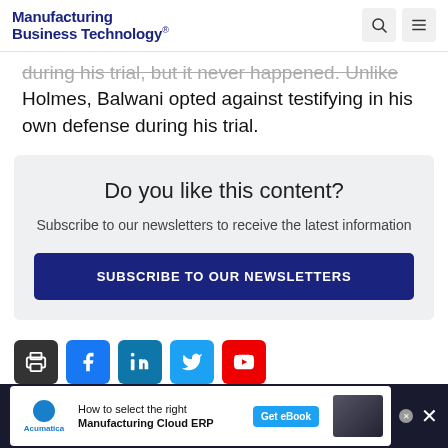Manufacturing Business Technology
during his trial, but it never happened. Unlike Holmes, Balwani opted against testifying in his own defense during his trial.
Do you like this content? Subscribe to our newsletters to receive the latest information SUBSCRIBE TO OUR NEWSLETTERS
[Figure (infographic): Social media sharing icons: print, Facebook, LinkedIn, Twitter, YouTube]
[Figure (infographic): Acumatica advertisement: How to select the right Manufacturing Cloud ERP. Get eBook button.]